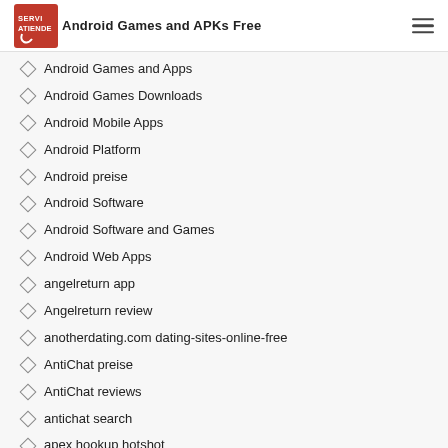Android Games and APKs Free
Android Games and Apps
Android Games Downloads
Android Mobile Apps
Android Platform
Android preise
Android Software
Android Software and Games
Android Web Apps
angelreturn app
Angelreturn review
anotherdating.com dating-sites-online-free
AntiChat preise
AntiChat reviews
antichat search
apex hookup hotshot
Apex promo code